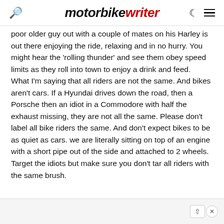motorbike writer
poor older guy out with a couple of mates on his Harley is out there enjoying the ride, relaxing and in no hurry. You might hear the 'rolling thunder' and see them obey speed limits as they roll into town to enjoy a drink and feed. What I'm saying that all riders are not the same. And bikes aren't cars. If a Hyundai drives down the road, then a Porsche then an idiot in a Commodore with half the exhaust missing, they are not all the same. Please don't label all bike riders the same. And don't expect bikes to be as quiet as cars. we are literally sitting on top of an engine with a short pipe out of the side and attached to 2 wheels. Target the idiots but make sure you don't tar all riders with the same brush.